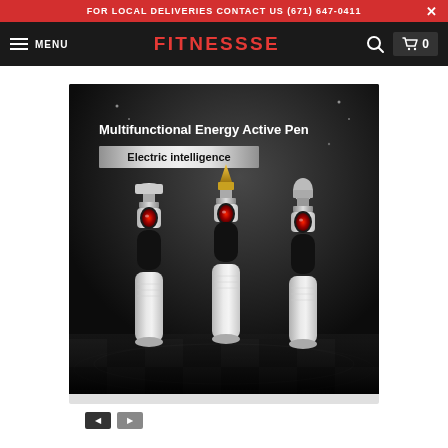FOR LOCAL DELIVERIES CONTACT US (671) 647-0411
MENU | FITNESSSE | 0
[Figure (photo): Product photo of three Multifunctional Energy Active Pen devices with different tip attachments, displayed on a dark background with checkered floor. Text overlay reads 'Multifunctional Energy Active Pen' and 'Electric intelligence'.]